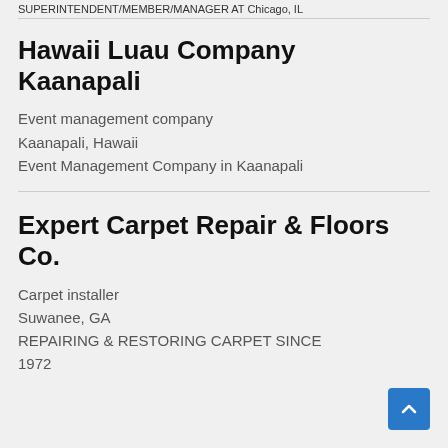...SUPERINTENDENT/MEMBER/MANAGER AT Chicago, IL
Hawaii Luau Company Kaanapali
Event management company
Kaanapali, Hawaii
Event Management Company in Kaanapali
Expert Carpet Repair & Floors Co.
Carpet installer
Suwanee, GA
REPAIRING & RESTORING CARPET SINCE 1972